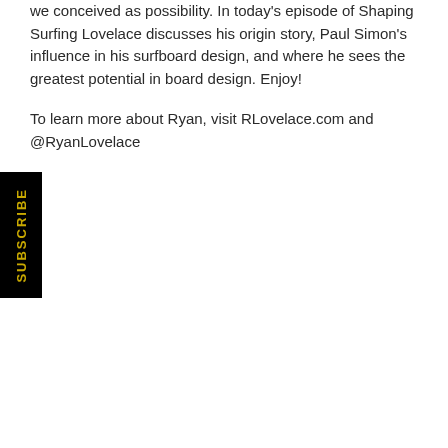We conceived as possibility. In today's episode of Shaping Surfing Lovelace discusses his origin story, Paul Simon's influence in his surfboard design, and where he sees the greatest potential in board design. Enjoy!
To learn more about Ryan, visit RLovelace.com and @RyanLovelace
[Figure (other): Black rectangular button with gold vertical text reading SUBSCRIBE]